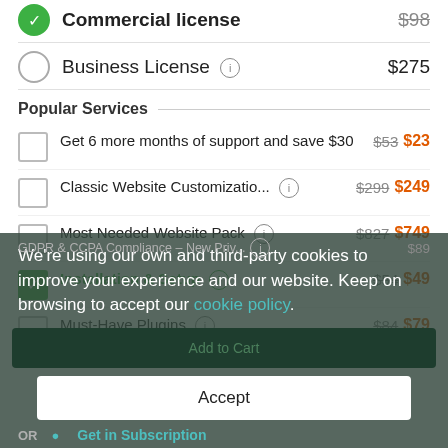Commercial license — $98 (selected, green checkmark)
Business License ⓘ — $275
Popular Services
Get 6 more months of support and save $30 — $53 $23
Classic Website Customizatio... ⓘ — $299 $249
Most Needed Website Pack ⓘ — $827 $749
Installation & Setup ⓘ — $54 $49 (checked, green)
Must-Have Plugins ⓘ — $84 $79
GDPR & CCPA Compliance – New Priv... ⓘ $89
We're using our own and third-party cookies to improve your experience and our website. Keep on browsing to accept our cookie policy.
Accept
OR   Get in Subscription